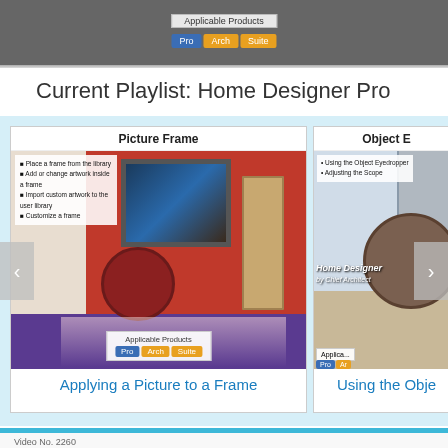[Figure (screenshot): Top strip showing a Home Designer software interface with Applicable Products label and Pro/Arch/Suite buttons]
Current Playlist: Home Designer Pro
[Figure (screenshot): Carousel showing two video thumbnail cards: 'Picture Frame' with subtitle 'Applying a Picture to a Frame' (left, selected) and partially visible 'Object E...' with subtitle 'Using the Obje...' (right). Navigation arrows on sides.]
Video No. 2260
Want to add a personal touch? Add pictures to frames